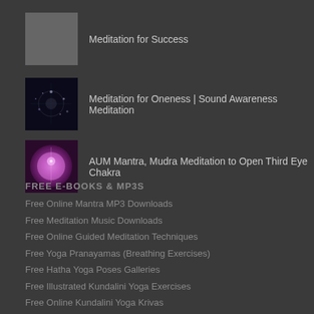Meditation for Success
Meditation for Oneness | Sound Awareness Meditation
AUM Mantra, Mudra Meditation to Open Third Eye Chakra
FREE E-BOOKS & MP3S
Free Online Mantra MP3 Downloads
Free Meditation Music Downloads
Free Online Guided Meditation Techniques
Free Yoga Pranayamas (Breathing Exercises)
Free Hatha Yoga Poses Galleries
Free Illustrated Kundalini Yoga Exercises
Free Online Kundalini Yoga Krivas